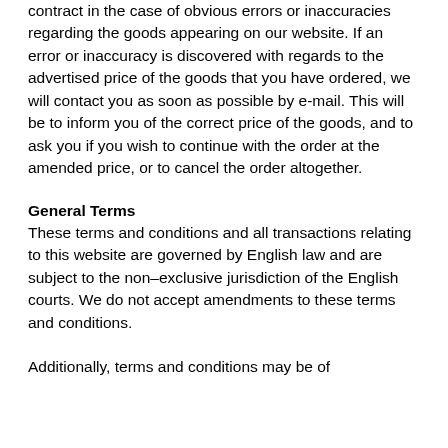contract in the case of obvious errors or inaccuracies regarding the goods appearing on our website. If an error or inaccuracy is discovered with regards to the advertised price of the goods that you have ordered, we will contact you as soon as possible by e-mail. This will be to inform you of the correct price of the goods, and to ask you if you wish to continue with the order at the amended price, or to cancel the order altogether.
General Terms
These terms and conditions and all transactions relating to this website are governed by English law and are subject to the non–exclusive jurisdiction of the English courts. We do not accept amendments to these terms and conditions.
Additionally, terms and conditions may be of